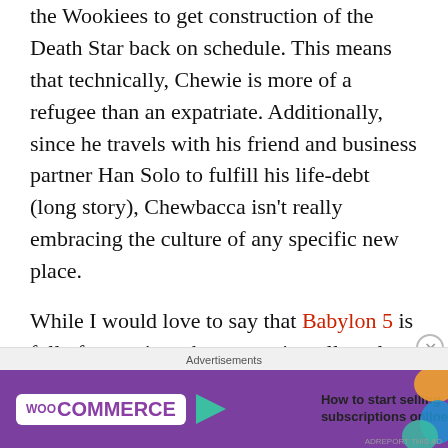the Wookiees to get construction of the Death Star back on schedule.  This means that technically, Chewie is more of a refugee than an expatriate.  Additionally, since he travels with his friend and business partner Han Solo to fulfill his life-debt (long story), Chewbacca isn't really embracing the culture of any specific new place.
While I would love to say that Babylon 5 is full of expatriate characters, it really only has two:  Sinclair and Sheridan.  Both of them go to live on Minbar at different points in the series.   The rest don't quite match the definition of expatriate because the
[Figure (other): WooCommerce advertisement banner: 'How to start selling subscriptions online']